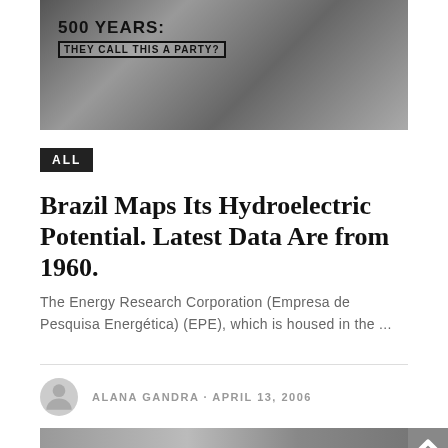[Figure (photo): Black and white close-up photograph with overlaid text reading '500 YEARS: THEY CALL THIS A PARTY?']
ALL
Brazil Maps Its Hydroelectric Potential. Latest Data Are from 1960.
The Energy Research Corporation (Empresa de Pesquisa Energética) (EPE), which is housed in the ...
ALANA GANDRA · APRIL 13, 2006
[Figure (photo): Black and white image showing 'brazil' text in large letters with a 'MUSIC: Acari, the new obore factory' overlay box and www.brazzil.com website URL]